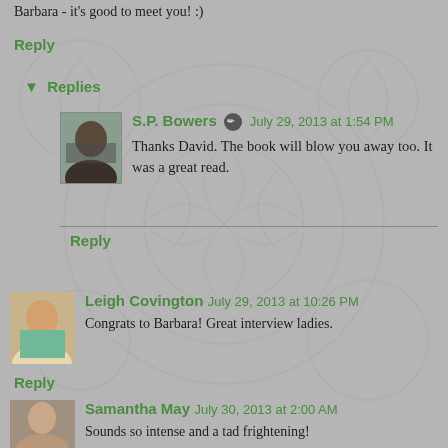Barbara - it's good to meet you! :)
Reply
▼ Replies
S.P. Bowers July 29, 2013 at 1:54 PM
Thanks David. The book will blow you away too. It was a great read.
Reply
Leigh Covington July 29, 2013 at 10:26 PM
Congrats to Barbara! Great interview ladies.
Reply
Samantha May July 30, 2013 at 2:00 AM
Sounds so intense and a tad frightening!